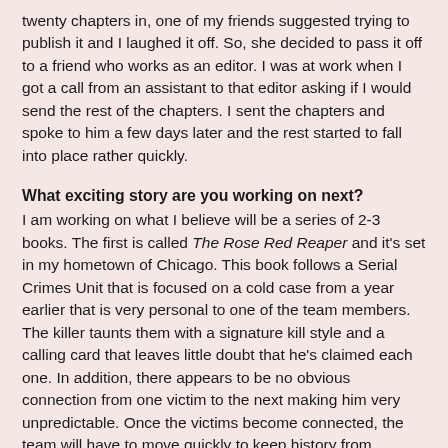twenty chapters in, one of my friends suggested trying to publish it and I laughed it off. So, she decided to pass it off to a friend who works as an editor. I was at work when I got a call from an assistant to that editor asking if I would send the rest of the chapters. I sent the chapters and spoke to him a few days later and the rest started to fall into place rather quickly.
What exciting story are you working on next?
I am working on what I believe will be a series of 2-3 books. The first is called The Rose Red Reaper and it's set in my hometown of Chicago. This book follows a Serial Crimes Unit that is focused on a cold case from a year earlier that is very personal to one of the team members. The killer taunts them with a signature kill style and a calling card that leaves little doubt that he's claimed each one. In addition, there appears to be no obvious connection from one victim to the next making him very unpredictable. Once the victims become connected, the team will have to move quickly to keep history from repeating. I'm hoping to have the first book ready for release by December of this year.